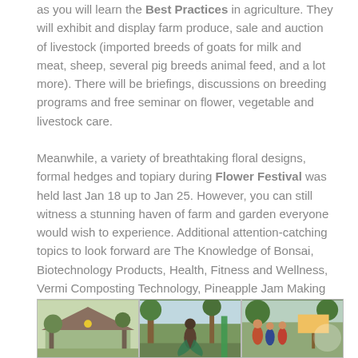as you will learn the Best Practices in agriculture. They will exhibit and display farm produce, sale and auction of livestock (imported breeds of goats for milk and meat, sheep, several pig breeds animal feed, and a lot more). There will be briefings, discussions on breeding programs and free seminar on flower, vegetable and livestock care.
Meanwhile, a variety of breathtaking floral designs, formal hedges and topiary during Flower Festival was held last Jan 18 up to Jan 25. However, you can still witness a stunning haven of farm and garden everyone would wish to experience. Additional attention-catching topics to look forward are The Knowledge of Bonsai, Biotechnology Products, Health, Fitness and Wellness, Vermi Composting Technology, Pineapple Jam Making and Aquavermiponics, a modern gardening technology.
[Figure (photo): Three photos side by side showing farm/garden scenes: a farm structure with roof, a peacock or bird in a garden setting, and a group of people near a sign.]